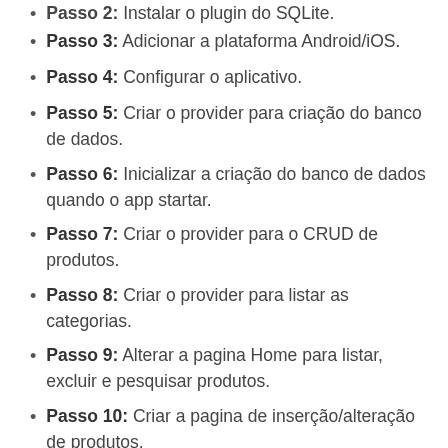Passo 3: Adicionar a plataforma Android/iOS.
Passo 4: Configurar o aplicativo.
Passo 5: Criar o provider para criação do banco de dados.
Passo 6: Inicializar a criação do banco de dados quando o app startar.
Passo 7: Criar o provider para o CRUD de produtos.
Passo 8: Criar o provider para listar as categorias.
Passo 9: Alterar a pagina Home para listar, excluir e pesquisar produtos.
Passo 10: Criar a pagina de inserção/alteração de produtos.